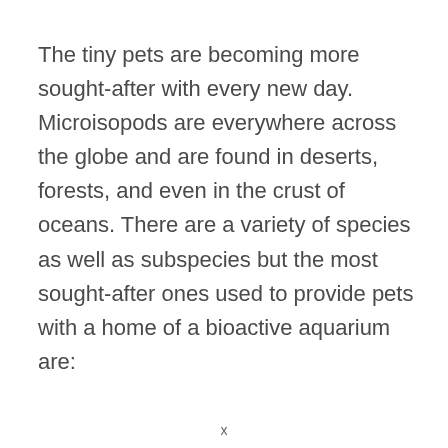The tiny pets are becoming more sought-after with every new day. Microisopods are everywhere across the globe and are found in deserts, forests, and even in the crust of oceans. There are a variety of species as well as subspecies but the most sought-after ones used to provide pets with a home of a bioactive aquarium are:
x